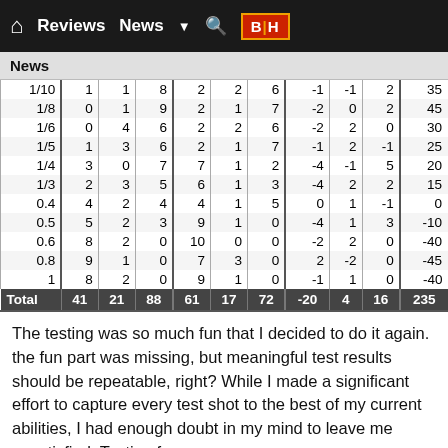Reviews  News  ▼  🔍  B|H
News
| 1/10 | 1 | 1 | 8 | 2 | 2 | 6 | -1 | -1 | 2 | 35 |
| 1/8 | 0 | 1 | 9 | 2 | 1 | 7 | -2 | 0 | 2 | 45 |
| 1/6 | 0 | 4 | 6 | 2 | 2 | 6 | -2 | 2 | 0 | 30 |
| 1/5 | 1 | 3 | 6 | 2 | 1 | 7 | -1 | 2 | -1 | 25 |
| 1/4 | 3 | 0 | 7 | 7 | 1 | 2 | -4 | -1 | 5 | 20 |
| 1/3 | 2 | 3 | 5 | 6 | 1 | 3 | -4 | 2 | 2 | 15 |
| 0.4 | 4 | 2 | 4 | 4 | 1 | 5 | 0 | 1 | -1 | 0 |
| 0.5 | 5 | 2 | 3 | 9 | 1 | 0 | -4 | 1 | 3 | -10 |
| 0.6 | 8 | 2 | 0 | 10 | 0 | 0 | -2 | 2 | 0 | -40 |
| 0.8 | 9 | 1 | 0 | 7 | 3 | 0 | 2 | -2 | 0 | -45 |
| 1 | 8 | 2 | 0 | 9 | 1 | 0 | -1 | 1 | 0 | -40 |
| Total | 41 | 21 | 88 | 61 | 17 | 72 | -20 | 4 | 16 | 235 |
The testing was so much fun that I decided to do it again. the fun part was missing, but meaningful test results should be repeatable, right? While I made a significant effort to capture every test shot to the best of my current abilities, I had enough doubt in my mind to leave me unsatisfied. Testing for...